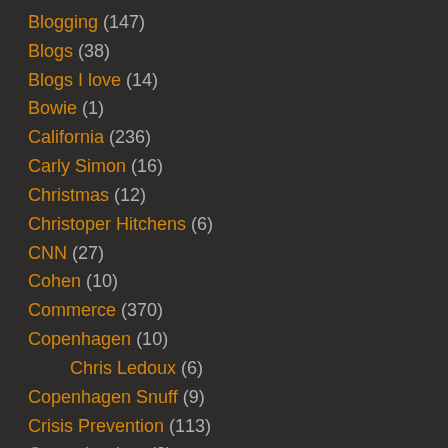Blogging (147)
Blogs (38)
Blogs I love (14)
Bowie (1)
California (236)
Carly Simon (16)
Christmas (12)
Christoper Hitchens (6)
CNN (27)
Cohen (10)
Commerce (370)
Copenhagen (10)
Chris Ledoux (6)
Copenhagen Snuff (9)
Crisis Prevention (113)
Cross the river (2)
Disease (177)
Don Draper (8)
Donovan (9)
Egypt (38)